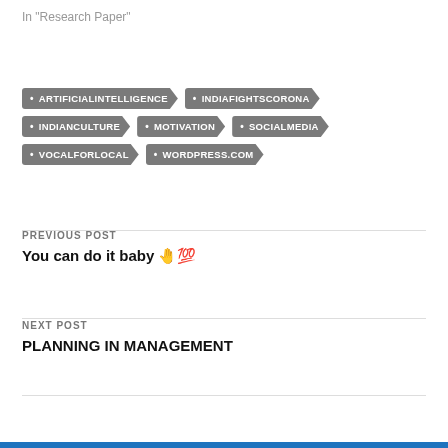In "Research Paper"
#ARTIFICIALINTELLIGENCE
#INDIAFIGHTSCORONA
#INDIANCULTURE
#MOTIVATION
#SOCIALMEDIA
#VOCALFORLOCAL
#WORDPRESS.COM
PREVIOUS POST
You can do it baby 🤚💯
NEXT POST
PLANNING IN MANAGEMENT